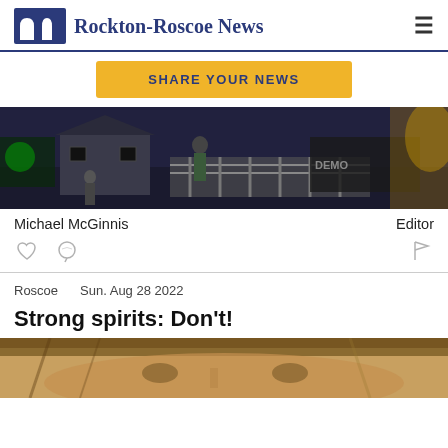Rockton-Roscoe News
[Figure (other): SHARE YOUR NEWS button]
[Figure (photo): Nighttime outdoor event photo showing people near a stage, barriers, with lights and a house in the background]
Michael McGinnis    Editor
Roscoe    Sun. Aug 28 2022
Strong spirits: Don't!
[Figure (photo): Close-up photo of a person's face, partially visible at bottom of page]